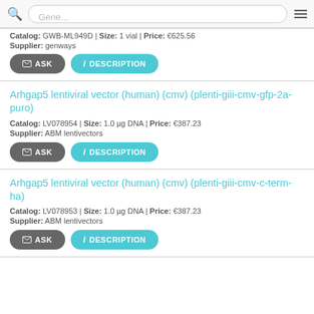Gene... [search bar]
Catalog: GWB-ML949D | Size: 1 vial | Price: €625.56
Supplier: genways
Arhgap5 lentiviral vector (human) (cmv) (plenti-giii-cmv-gfp-2a-puro)
Catalog: LV078954 | Size: 1.0 µg DNA | Price: €387.23
Supplier: ABM lentivectors
Arhgap5 lentiviral vector (human) (cmv) (plenti-giii-cmv-c-term-ha)
Catalog: LV078953 | Size: 1.0 µg DNA | Price: €387.23
Supplier: ABM lentivectors